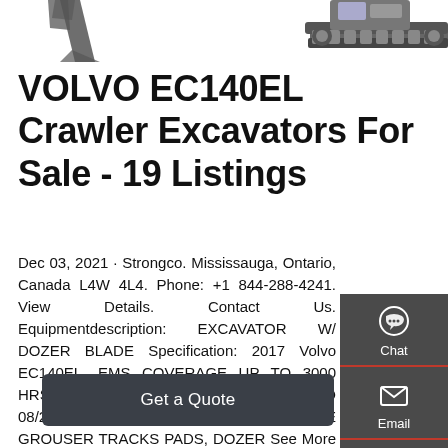[Figure (photo): Partial top view of a Volvo EC140EL crawler excavator on white background]
VOLVO EC140EL Crawler Excavators For Sale - 19 Listings
Dec 03, 2021 · Strongco. Mississauga, Ontario, Canada L4W 4L4. Phone: +1 844-288-4241. View Details. Contact Us. Equipmentdescription: EXCAVATOR W/ DOZER BLADE Specification: 2017 Volvo EC140EL, EMS COVERAGE UP TO 3000 HRS, PT+H+C EPG COVERAGE UP TO 08/2021 OR 3000 HRS, 24" TRIPLE GROUSER TRACKS PADS, DOZER See More Details.
[Figure (infographic): Side panel with Chat, Email, and Contact buttons]
Get a Quote